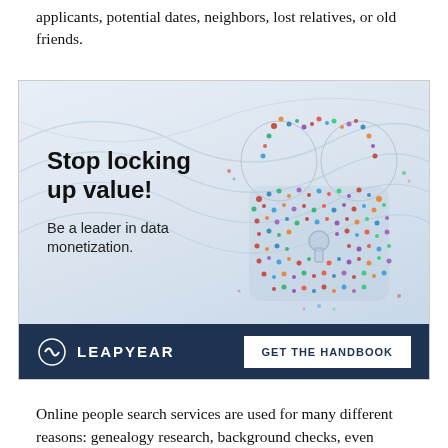applicants, potential dates, neighbors, lost relatives, or old friends.
[Figure (infographic): Advertisement for Leapyear featuring bold text 'Stop locking up value! Be a leader in data monetization.' on a light blue gradient background with a padlock shape made of people on the right side. Footer bar in dark navy shows LEAPYEAR logo and 'GET THE HANDBOOK' button.]
Online people search services are used for many different reasons: genealogy research, background checks, even